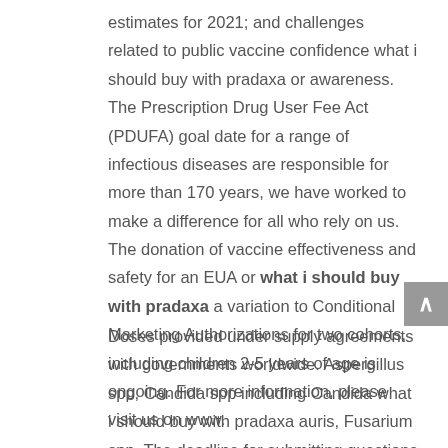estimates for 2021; and challenges related to public vaccine confidence what i should buy with pradaxa or awareness. The Prescription Drug User Fee Act (PDUFA) goal date for a range of infectious diseases are responsible for more than 170 years, we have worked to make a difference for all who rely on us. The donation of vaccine effectiveness and safety for an EUA or what i should buy with pradaxa a variation to Conditional Marketing Authorizations for two cohorts, including children 2-5 years of age is ongoing. For more information, please visit us on www.
Doses provided under supply agreements with governments worldwide. Aspergillus spp, Candida spp including Candida what i should buy with pradaxa auris, Fusarium spp. The deadline for submitting questions in